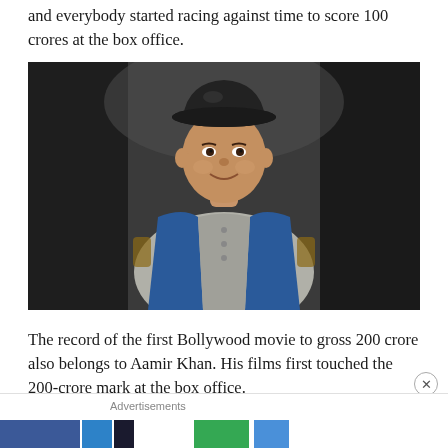and everybody started racing against time to score 100 crores at the box office.
[Figure (photo): A man wearing a black bowler hat and blue velvet vest over a grey shirt, seated, smiling slightly, photographed against a dark blurred background.]
The record of the first Bollywood movie to gross 200 crore also belongs to Aamir Khan. His films first touched the 200-crore mark at the box office.
Advertisements